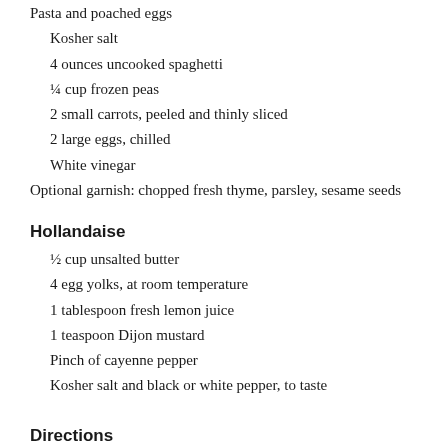Pasta and poached eggs
Kosher salt
4 ounces uncooked spaghetti
¼ cup frozen peas
2 small carrots, peeled and thinly sliced
2 large eggs, chilled
White vinegar
Optional garnish: chopped fresh thyme, parsley, sesame seeds
Hollandaise
½ cup unsalted butter
4 egg yolks, at room temperature
1 tablespoon fresh lemon juice
1 teaspoon Dijon mustard
Pinch of cayenne pepper
Kosher salt and black or white pepper, to taste
Directions